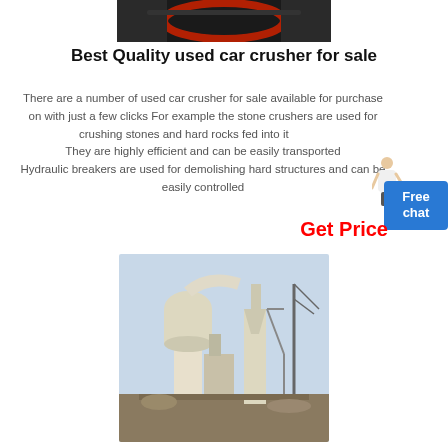[Figure (photo): Close-up of a dark industrial machine with a red circular element, likely car crusher machinery]
Best Quality used car crusher for sale
There are a number of used car crusher for sale available for purchase on with just a few clicks For example the stone crushers are used for crushing stones and hard rocks fed into it They are highly efficient and can be easily transported Hydraulic breakers are used for demolishing hard structures and can be easily controlled
Get Price
[Figure (photo): Outdoor industrial crushing/grinding plant with large white cylindrical equipment towers and structures]